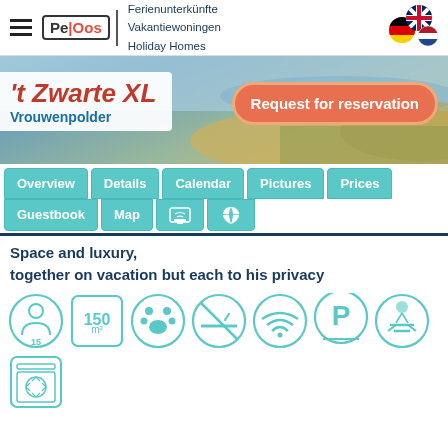[Figure (screenshot): Website header with hamburger menu, PeOos logo, taglines (Ferienunterkünfte, Vakantiewoningen, Holiday Homes), and language flag icons]
[Figure (photo): Beach/dune hero image with title 't Zwarte XL' and subtitle 'Vrouwenpolder', plus 'Request for reservation' orange button]
[Figure (screenshot): Navigation tabs: Overview, Details, Calendar, Pictures, Prices, Guestbook, Map, print icon, Facebook icon]
Space and luxury,
together on vacation but each to his privacy
[Figure (infographic): Row of amenity icons: 15 persons, 150 m², pets allowed paw, no smoking, WiFi, Parking (P), outdoor seating, dishwasher]